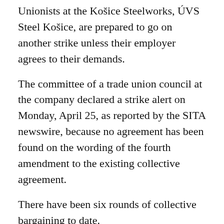Unionists at the Košice Steelworks, ÚVS Steel Košice, are prepared to go on another strike unless their employer agrees to their demands.
The committee of a trade union council at the company declared a strike alert on Monday, April 25, as reported by the SITA newswire, because no agreement has been found on the wording of the fourth amendment to the existing collective agreement.
There have been six rounds of collective bargaining to date.
Mediator to solve the dispute
“We are proceeding in accordance with the law on